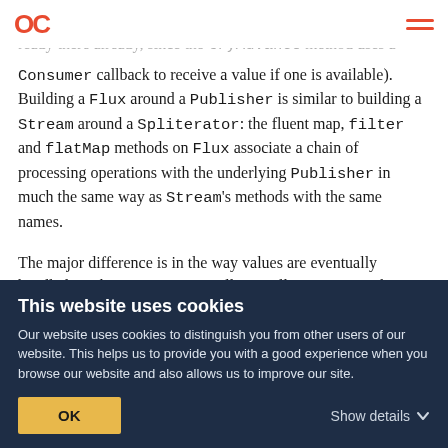OC [logo] [hamburger menu]
ues as they arrive (ironically, Spliterator is already there already, since the tryAdvance method uses a Consumer callback to receive a value if one is available). Building a Flux around a Publisher is similar to building a Stream around a Spliterator: the fluent map, filter and flatMap methods on Flux associate a chain of processing operations with the underlying Publisher in much the same way as Stream's methods with the same names.

The major difference is in the way values are eventually handled. With a Stream, we will normally want to invoke a terminal method to gather up the results of processing into a final value — a count, sum, or collection of processing
This website uses cookies
Our website uses cookies to distinguish you from other users of our website. This helps us to provide you with a good experience when you browse our website and also allows us to improve our site.
OK    Show details